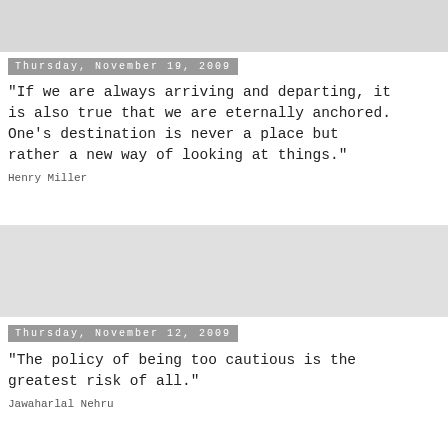[Figure (other): Gray banner image at top of page]
Thursday, November 19, 2009
"If we are always arriving and departing, it is also true that we are eternally anchored. One's destination is never a place but rather a new way of looking at things."
Henry Miller
[Figure (other): Gray banner image in middle of page]
Thursday, November 12, 2009
"The policy of being too cautious is the greatest risk of all."
Jawaharlal Nehru